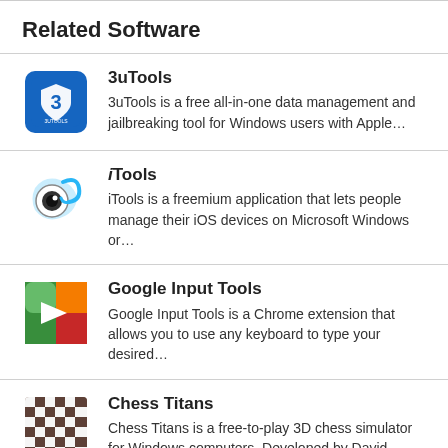Related Software
3uTools — 3uTools is a free all-in-one data management and jailbreaking tool for Windows users with Apple…
iTools — iTools is a freemium application that lets people manage their iOS devices on Microsoft Windows or…
Google Input Tools — Google Input Tools is a Chrome extension that allows you to use any keyboard to type your desired…
Chess Titans — Chess Titans is a free-to-play 3D chess simulator for Windows computers. Developed by David Morris, it…
CheatBook-DataBase — CheatBook is a repository of many cheat codes for…